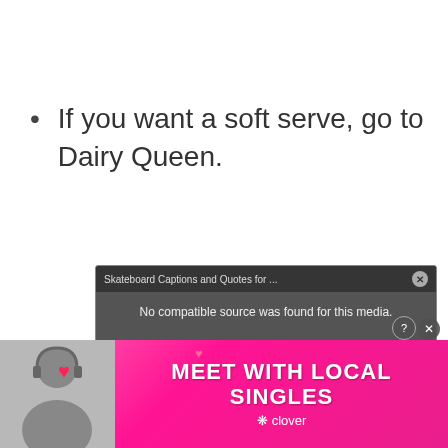If you want a soft serve, go to Dairy Queen.
[Figure (screenshot): A video player overlay with dark background showing message 'No compatible source was found for this media.' with title bar 'Skateboard Captions and Quotes for ...' and a close button. Below shows 'Skateboard' text watermark and an X icon.]
[Figure (photo): Advertisement banner with pink/magenta gradient background showing a woman smiling with headset, heart decorations, and bold white text 'MEET WITH LOCAL SINGLES' with Clover app branding and close/help buttons.]